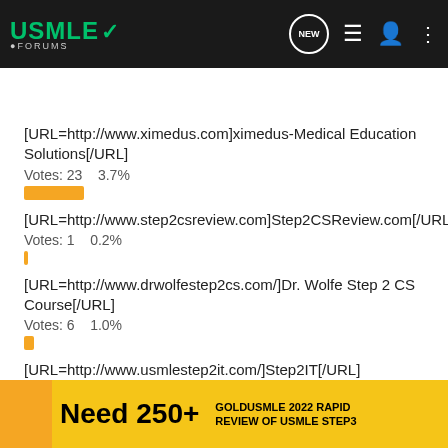USMLE Forums - Navigation bar with search
[URL=http://www.ximedus.com]ximedus-Medical Education Solutions[/URL]
Votes: 23    3.7%
[URL=http://www.step2csreview.com]Step2CSReview.com[/URL]
Votes: 1    0.2%
[URL=http://www.drwolfestep2cs.com/]Dr. Wolfe Step 2 CS Course[/URL]
Votes: 6    1.0%
[URL=http://www.usmlestep2it.com/]Step2IT[/URL]
Votes:
Need 250+    GOLDUSMLE 2022 RAPID REVIEW OF USMLE STEP3